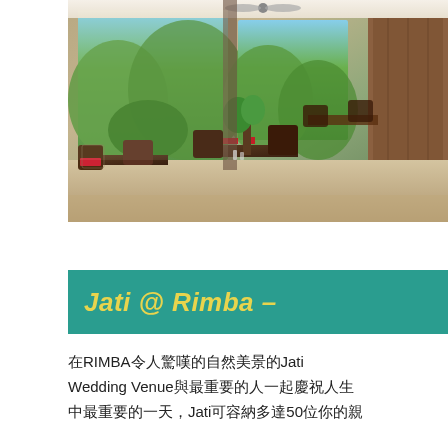[Figure (photo): Interior of Jati restaurant at RIMBA resort — warm-lit dining room with dark wood furniture, red seat cushions, open glass walls showing lush tropical greenery outside, ceiling fan visible, decorative carved wooden screen on right wall.]
Jati @ Rimba –
在RIMBA令人驚嘆的自然美景的Jati Wedding Venue與最重要的人一起慶祝人生中最重要的一天，Jati可容納多達50位你的親